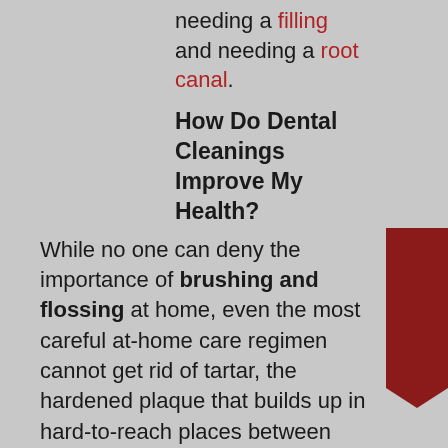needing a filling and needing a root canal.
How Do Dental Cleanings Improve My Health?
While no one can deny the importance of brushing and flossing at home, even the most careful at-home care regimen cannot get rid of tartar, the hardened plaque that builds up in hard-to-reach places between teeth and below the gumline. Our dental hygienist uses ultrasonic scaling technology to completely remove plaque and tartar buildup and leave your teeth feeling smooth and incredibly clean.
How Do Teeth Cleanings Improve My Smile?
Do you have an important business job interview, a big date, or perhaps a family
[Figure (other): Red banner button with white handwritten text reading 'Schedule Now!' positioned at bottom right corner]